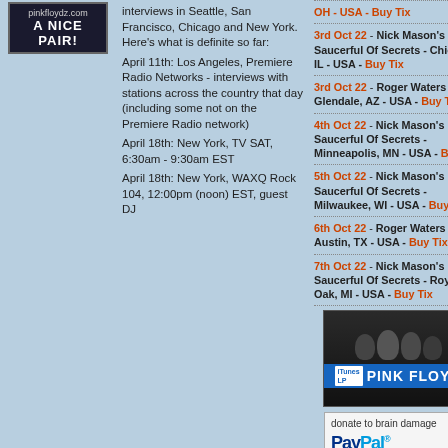[Figure (illustration): pinkfloydz.com advertisement box with text 'A NICE PAIR!']
interviews in Seattle, San Francisco, Chicago and New York. Here's what is definite so far:
April 11th: Los Angeles, Premiere Radio Networks - interviews with stations across the country that day (including some not on the Premiere Radio network)
April 18th: New York, TV SAT, 6:30am - 9:30am EST
April 18th: New York, WAXQ Rock 104, 12:00pm (noon) EST, guest DJ
OH - USA - Buy Tix
3rd Oct 22 - Nick Mason's Saucerful Of Secrets - Chicago, IL - USA - Buy Tix
3rd Oct 22 - Roger Waters - Glendale, AZ - USA - Buy Tix
4th Oct 22 - Nick Mason's Saucerful Of Secrets - Minneapolis, MN - USA - Buy Tix
5th Oct 22 - Nick Mason's Saucerful Of Secrets - Milwaukee, WI - USA - Buy Tix
6th Oct 22 - Roger Waters - Austin, TX - USA - Buy Tix
7th Oct 22 - Nick Mason's Saucerful Of Secrets - Royal Oak, MI - USA - Buy Tix
[Figure (photo): Pink Floyd iTunes LP promotional image with silhouettes of band members and blue banner with 'PINK FLOYD' text]
[Figure (infographic): Donate to brain damage via PayPal button/box]